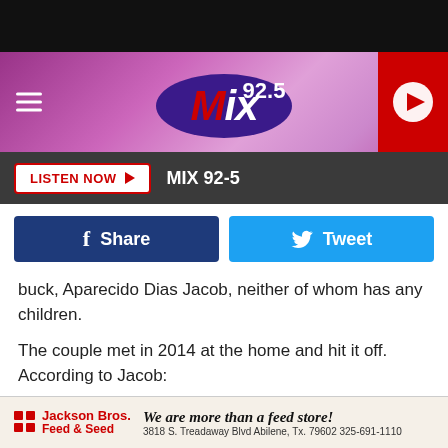[Figure (screenshot): Mix 92.5 radio station website header with purple/pink gradient background, hamburger menu on left, Mix 92.5 logo in center, red play button on right]
LISTEN NOW ▶  MIX 92-5
[Figure (infographic): Facebook Share button (dark blue) and Twitter Tweet button (light blue) side by side]
buck, Aparecido Dias Jacob, neither of whom has any children.
The couple met in 2014 at the home and hit it off. According to Jacob:
“ I fell in love with Valda from the moment I saw her. I know she’s a little older than me, but that doesn’t
[Figure (infographic): Jackson Bros. Feed & Seed advertisement banner: 'We are more than a feed store! 3818 S. Treadaway Blvd Abilene, Tx. 79602 325-691-1110']